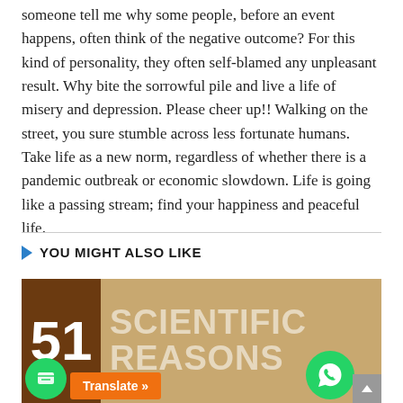someone tell me why some people, before an event happens, often think of the negative outcome? For this kind of personality, they often self-blamed any unpleasant result. Why bite the sorrowful pile and live a life of misery and depression. Please cheer up!! Walking on the street, you sure stumble across less fortunate humans. Take life as a new norm, regardless of whether there is a pandemic outbreak or economic slowdown. Life is going like a passing stream; find your happiness and peaceful life.
YOU MIGHT ALSO LIKE
[Figure (photo): Thumbnail image with dark brown box containing number '51' in white, and tan/beige background with large white semi-transparent text reading 'SCIENTIFIC REASONS' (partial, bottom cut off)]